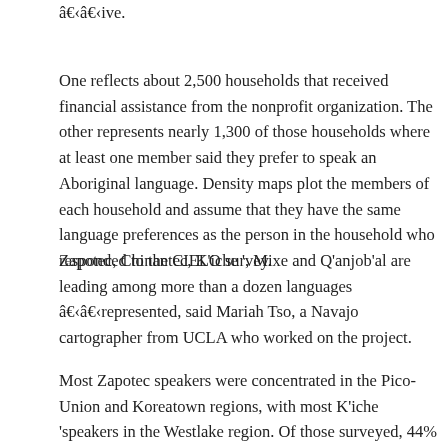â€‹â€‹ive.
One reflects about 2,500 households that received financial assistance from the nonprofit organization. The other represents nearly 1,300 of those households where at least one member said they prefer to speak an Aboriginal language. Density maps plot the members of each household and assume that they have the same language preferences as the person in the household who responded to the CIELO survey.
Zapotec, Chinantec, K'iche ', Mixe and Q'anjob'al are leading among more than a dozen languages â€‹â€‹represented, said Mariah Tso, a Navajo cartographer from UCLA who worked on the project.
Most Zapotec speakers were concentrated in the Pico-Union and Koreatown regions, with most K'iche 'speakers in the Westlake region. Of those surveyed, 44% reported working in the restaurant industry, followed by 29% in the cleaning industry and